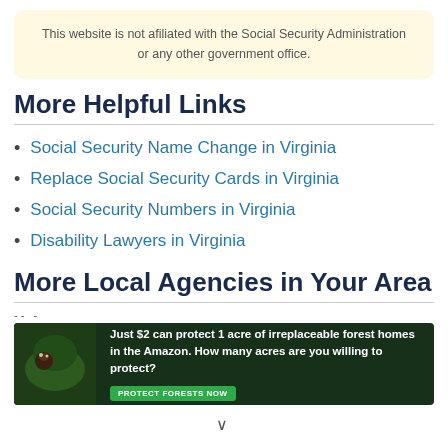This website is not affiliated with the Social Security Administration or any other government office.
More Helpful Links
Social Security Name Change in Virginia
Replace Social Security Cards in Virginia
Social Security Numbers in Virginia
Disability Lawyers in Virginia
More Local Agencies in Your Area
[Figure (infographic): Advertisement banner: Just $2 can protect 1 acre of irreplaceable forest homes in the Amazon. How many acres are you willing to protect? PROTECT FORESTS NOW]